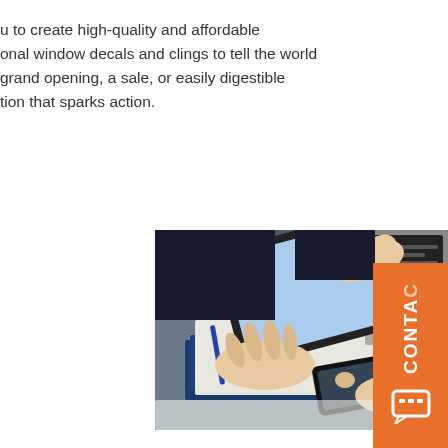u to create high-quality and affordable onal window decals and clings to tell the world grand opening, a sale, or easily digestible tion that sparks action.
[Figure (photo): Business professional hands working with tablet and smartphone on a desk with notebook and laptop visible in background. An orange CONTACT badge is overlaid on the right side.]